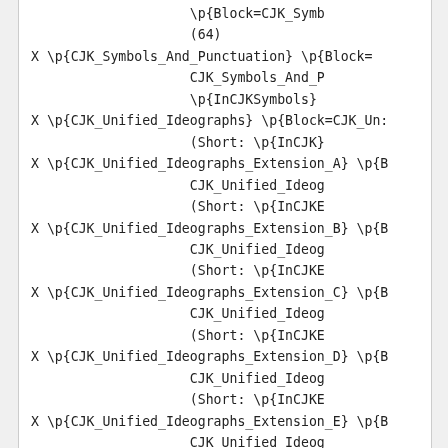\p{Block=CJK_Symb
(64)
X \p{CJK_Symbols_And_Punctuation} \p{Block=
                CJK_Symbols_And_P
                \p{InCJKSymbols}
X \p{CJK_Unified_Ideographs} \p{Block=CJK_Un:
                (Short: \p{InCJK}
X \p{CJK_Unified_Ideographs_Extension_A} \p{B
                CJK_Unified_Ideog
                (Short: \p{InCJKE
X \p{CJK_Unified_Ideographs_Extension_B} \p{B
                CJK_Unified_Ideog
                (Short: \p{InCJKE
X \p{CJK_Unified_Ideographs_Extension_C} \p{B
                CJK_Unified_Ideog
                (Short: \p{InCJKE
X \p{CJK_Unified_Ideographs_Extension_D} \p{B
                CJK_Unified_Ideog
                (Short: \p{InCJKE
X \p{CJK_Unified_Ideographs_Extension_E} \p{B
                CJK_Unified_Ideog
                (Short: \p{InCJKE
X \p{CJK_Unified_Ideographs_Extension_F} \p{B